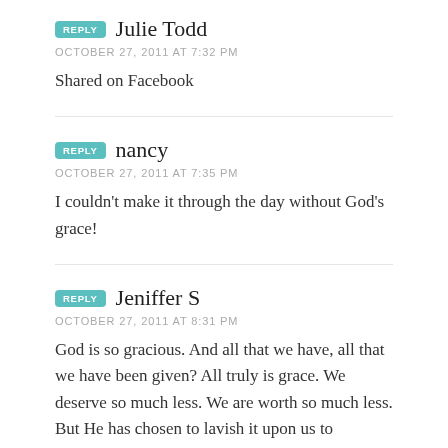REPLY  Julie Todd
OCTOBER 27, 2011 AT 7:32 PM
Shared on Facebook
REPLY  nancy
OCTOBER 27, 2011 AT 7:35 PM
I couldn't make it through the day without God's grace!
REPLY  Jeniffer S
OCTOBER 27, 2011 AT 8:31 PM
God is so gracious. And all that we have, all that we have been given? All truly is grace. We deserve so much less. We are worth so much less. But He has chosen to lavish it upon us to...